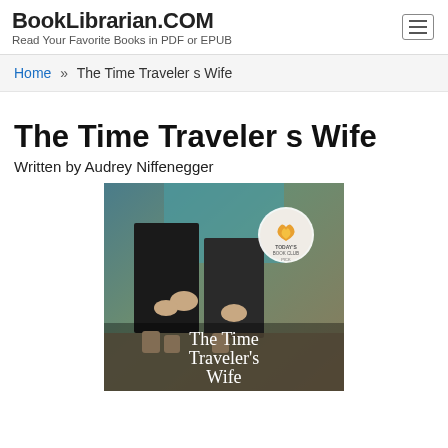BookLibrarian.COM
Read Your Favorite Books in PDF or EPUB
Home » The Time Traveler s Wife
The Time Traveler s Wife
Written by Audrey Niffenegger
[Figure (photo): Book cover of The Time Traveler's Wife by Audrey Niffenegger, showing two people standing close together on a muted background with a 'Today's Book Club' badge in the upper right. The title text 'The Time Traveler's Wife' appears in white serif font at the bottom of the cover.]